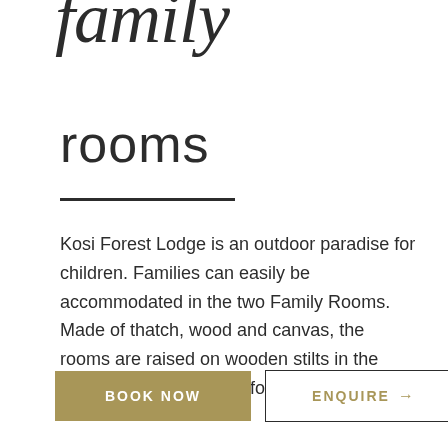family
rooms
Kosi Forest Lodge is an outdoor paradise for children. Families can easily be accommodated in the two Family Rooms. Made of thatch, wood and canvas, the rooms are raised on wooden stilts in the midst of the indigenous forest.
BOOK NOW
ENQUIRE →